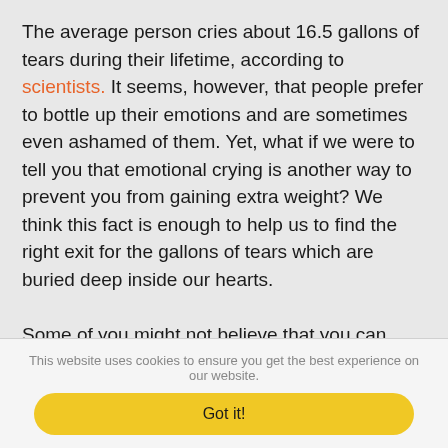The average person cries about 16.5 gallons of tears during their lifetime, according to scientists. It seems, however, that people prefer to bottle up their emotions and are sometimes even ashamed of them. Yet, what if we were to tell you that emotional crying is another way to prevent you from gaining extra weight? We think this fact is enough to help us to find the right exit for the gallons of tears which are buried deep inside our hearts.
Some of you might not believe that you can lose weight by letting your emotions out. Too many of us have been
This website uses cookies to ensure you get the best experience on our website.